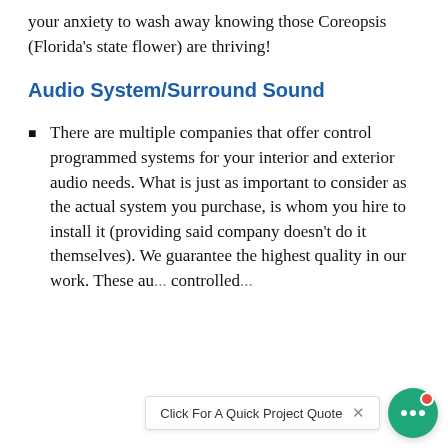your anxiety to wash away knowing those Coreopsis (Florida's state flower) are thriving!
Audio System/Surround Sound
There are multiple companies that offer control programmed systems for your interior and exterior audio needs. What is just as important to consider as the actual system you purchase, is whom you hire to install it (providing said company doesn't do it themselves). We guarantee the highest quality in our work. These au... controlled... (and can be